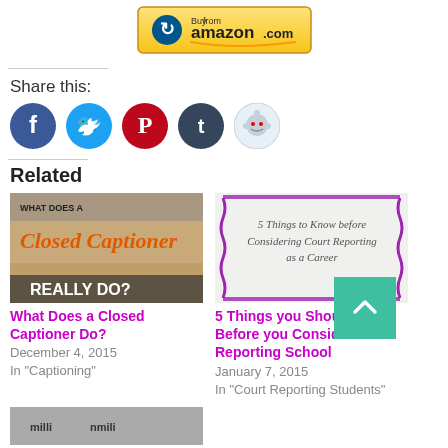[Figure (logo): Buy from Amazon.com button with blue arrow logo and Amazon smile]
Share this:
[Figure (infographic): Social sharing icons: Facebook (blue), Twitter (cyan), Pinterest (red), Tumblr (dark blue), Reddit (light blue)]
Related
[Figure (photo): Thumbnail image: What Does a Closed Captioner Do? with text overlay in red/orange script]
What Does a Closed Captioner Do?
December 4, 2015
In "Captioning"
[Figure (illustration): Thumbnail image: 5 Things to Know before Considering Court Reporting as a Career with purple decorative border]
5 Things you Should Know Before you Consider Court Reporting School
January 7, 2015
In "Court Reporting Students"
[Figure (photo): Partial thumbnail image at bottom of page, partially cropped]